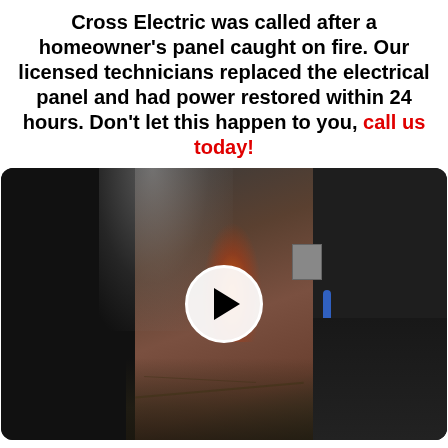Cross Electric was called after a homeowner's panel caught on fire. Our licensed technicians replaced the electrical panel and had power restored within 24 hours. Don't let this happen to you, call us today!
[Figure (photo): A dark photo showing a house with smoke coming from an electrical panel on a brick wall, with debris on the ground. A video play button (white circle with black triangle) is overlaid in the center.]